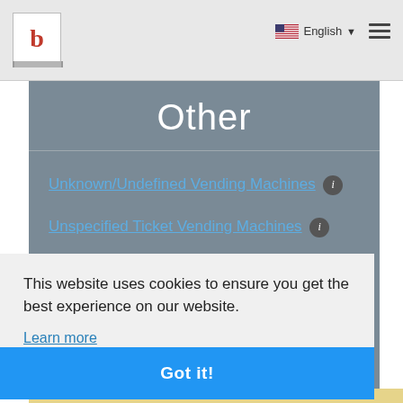b | English | menu
Other
Unknown/Undefined Vending Machines
Unspecified Ticket Vending Machines
Animal Food Vending Machines
This website uses cookies to ensure you get the best experience on our website.
Learn more
Got it!